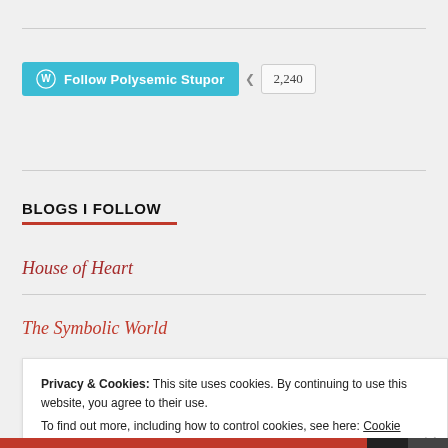[Figure (other): WordPress Follow button for 'Polysemic Stupor' in teal/blue with WordPress icon, followed by a count badge showing 2,240]
BLOGS I FOLLOW
House of Heart
The Symbolic World
Privacy & Cookies: This site uses cookies. By continuing to use this website, you agree to their use.
To find out more, including how to control cookies, see here: Cookie Policy
Close and accept